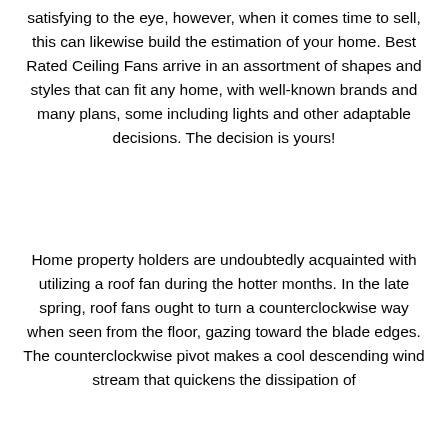satisfying to the eye, however, when it comes time to sell, this can likewise build the estimation of your home. Best Rated Ceiling Fans arrive in an assortment of shapes and styles that can fit any home, with well-known brands and many plans, some including lights and other adaptable decisions. The decision is yours!
Home property holders are undoubtedly acquainted with utilizing a roof fan during the hotter months. In the late spring, roof fans ought to turn a counterclockwise way when seen from the floor, gazing toward the blade edges. The counterclockwise pivot makes a cool descending wind stream that quickens the dissipation of